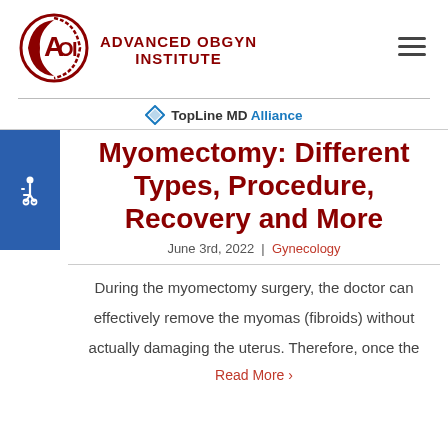[Figure (logo): Advanced OBGYN Institute logo with AOI circular emblem and red text]
[Figure (logo): TopLine MD Alliance logo with diamond icon]
Myomectomy: Different Types, Procedure, Recovery and More
June 3rd, 2022 | Gynecology
During the myomectomy surgery, the doctor can effectively remove the myomas (fibroids) without actually damaging the uterus. Therefore, once the
Read More >